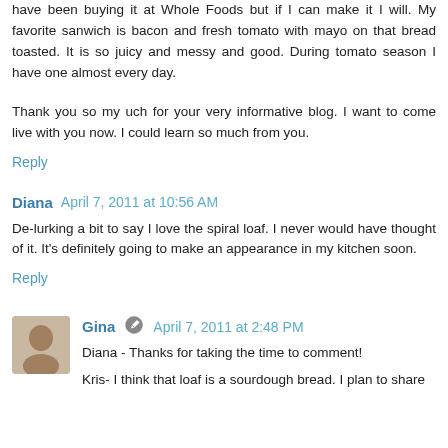have been buying it at Whole Foods but if I can make it I will. My favorite sanwich is bacon and fresh tomato with mayo on that bread toasted. It is so juicy and messy and good. During tomato season I have one almost every day.
Thank you so my uch for your very informative blog. I want to come live with you now. I could learn so much from you.
Reply
Diana April 7, 2011 at 10:56 AM
De-lurking a bit to say I love the spiral loaf. I never would have thought of it. It's definitely going to make an appearance in my kitchen soon.
Reply
Gina April 7, 2011 at 2:48 PM
Diana - Thanks for taking the time to comment!
Kris- I think that loaf is a sourdough bread. I plan to share